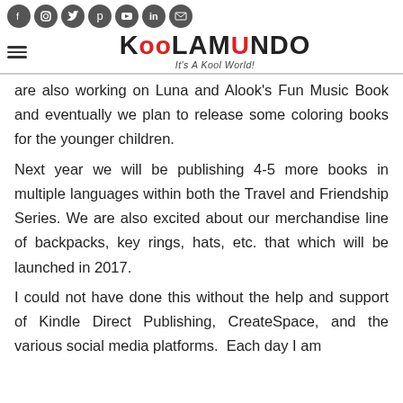Social icons and Koolamundo logo — It's A Kool World!
are also working on Luna and Alook's Fun Music Book and eventually we plan to release some coloring books for the younger children.
Next year we will be publishing 4-5 more books in multiple languages within both the Travel and Friendship Series. We are also excited about our merchandise line of backpacks, key rings, hats, etc. that which will be launched in 2017.
I could not have done this without the help and support of Kindle Direct Publishing, CreateSpace, and the various social media platforms.  Each day I am